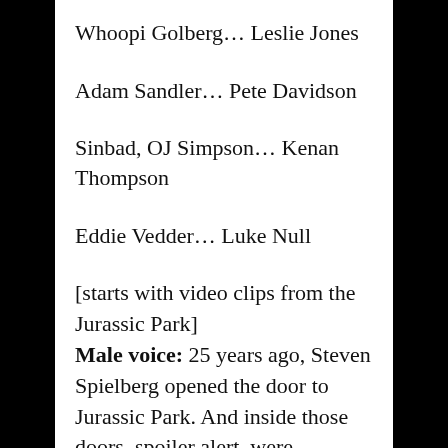Whoopi Golberg… Leslie Jones
Adam Sandler… Pete Davidson
Sinbad, OJ Simpson… Kenan Thompson
Eddie Vedder… Luke Null
[starts with video clips from the Jurassic Park]
Male voice: 25 years ago, Steven Spielberg opened the door to Jurassic Park. And inside those doors, spoiler alert, were dinosaurs. Now, as part of the 25th anniversary rerelease, you can watch the original 1992 screen test.